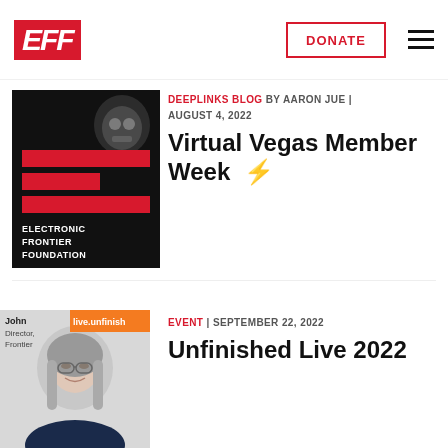EFF | DONATE | (menu)
Encryption
[Figure (screenshot): EFF (Electronic Frontier Foundation) logo on black background with red horizontal bars and white text]
DEEPLINKS BLOG BY AARON JUE | AUGUST 4, 2022
Virtual Vegas Member Week ⚡
[Figure (photo): Photo of a woman with gray hair and glasses smiling, with orange banner reading 'live.unfinish...' and text 'John Director, Frontier']
EVENT | SEPTEMBER 22, 2022
Unfinished Live 2022